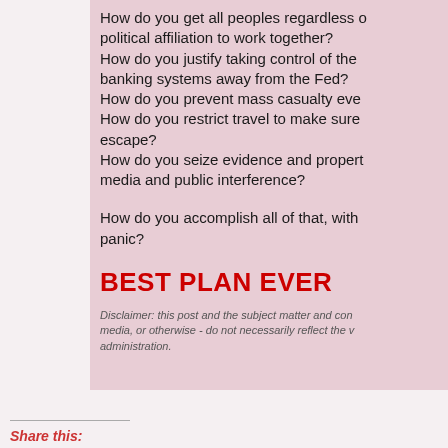How do you get all peoples regardless of political affiliation to work together? How do you justify taking control of the banking systems away from the Fed? How do you prevent mass casualty eve[nts]? How do you restrict travel to make sure [no one can] escape? How do you seize evidence and proper[ty without] media and public interference?
How do you accomplish all of that, with[out] panic?
BEST PLAN EVER
Disclaimer: this post and the subject matter and con[tent] - media, or otherwise - do not necessarily reflect the v[iews of the] administration.
Share this: